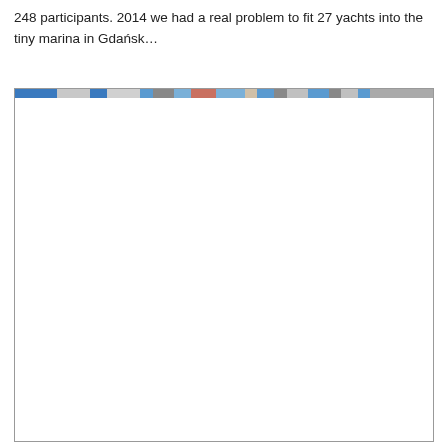248 participants. 2014 we had a real problem to fit 27 yachts into the tiny marina in Gdańsk…
[Figure (photo): A photo or screenshot showing yachts in a marina, with a colorful navigation/toolbar strip visible at the top of the image and mostly white/blank content below.]